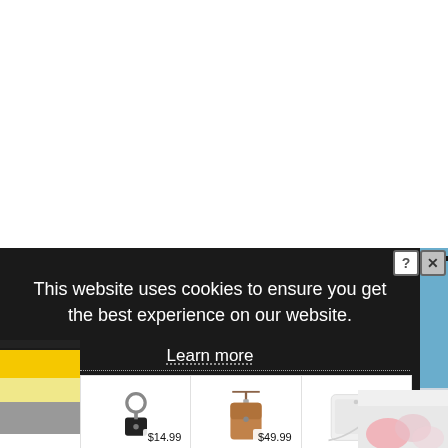[Figure (screenshot): White blank upper area of a webpage]
This website uses cookies to ensure you get the best experience on our website.
Learn more
[Figure (infographic): Advertisement strip showing three products: a keychain with price $14.99, a crossbody bag at $49.99, and a phone case at $49.99. Right side shows partial ad panel with blue background and NOEMIE branding. Left side shows yellow, black, and grey color bars.]